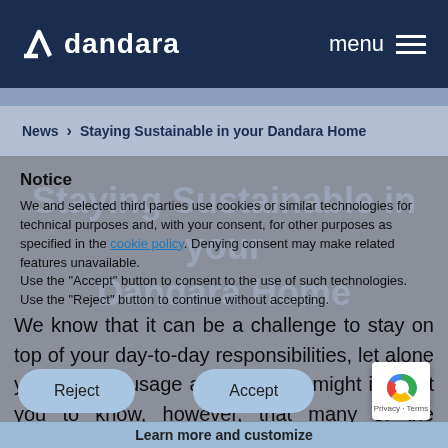dandara   menu
News > Staying Sustainable in your Dandara Home
Staying Sustainable in your Dandara Home
Notice
We and selected third parties use cookies or similar technologies for technical purposes and, with your consent, for other purposes as specified in the cookie policy. Denying consent may make related features unavailable.
Use the "Accept" button to consent to the use of such technologies. Use the "Reject" button to continue without accepting.
We know that it can be a challenge to stay on top of your day-to-day responsibilities, let alone your energy usage and waste. It might interest you to know, however, that many of the changes you make in your home are quick and simple. Even the smallest steps can really make a difference.